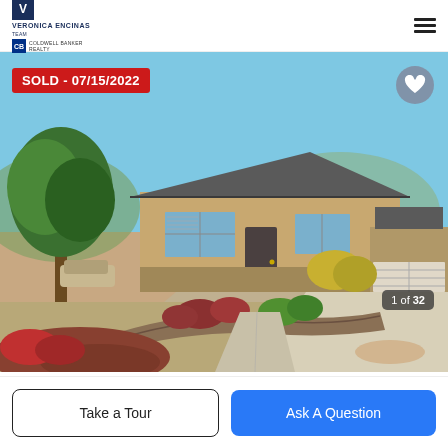[Figure (logo): Veronica Encinas Team Coldwell Banker Realty logo in header]
[Figure (photo): Exterior photo of a single-story tan/beige ranch-style home with landscaping, trees, shrubs, rock garden, driveway, and detached garage. Blue sky background. Sold badge reads SOLD - 07/15/2022. Photo counter shows 1 of 32.]
SOLD - 07/15/2022
1 of 32
Take a Tour
Ask A Question